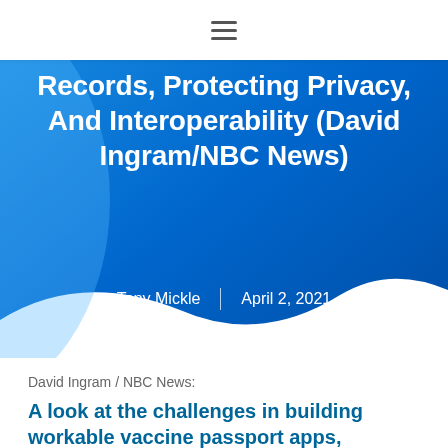☰
Records, Protecting Privacy, And Interoperability (David Ingram/NBC News)
Tony Mickle | April 2, 2021
David Ingram / NBC News:
A look at the challenges in building workable vaccine passport apps, including dealing with forged records, protecting privacy, and interoperability — The Biden administration